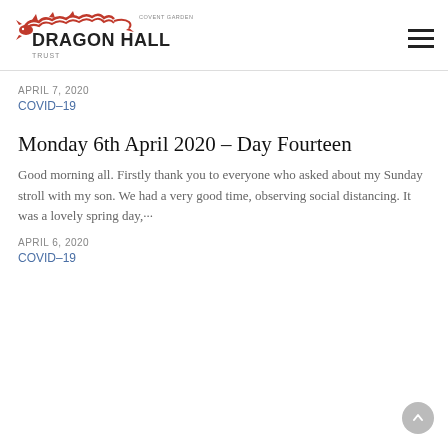[Figure (logo): Dragon Hall Trust Covent Garden logo with red dragon illustration and bold text]
APRIL 7, 2020
COVID-19
Monday 6th April 2020 – Day Fourteen
Good morning all. Firstly thank you to everyone who asked about my Sunday stroll with my son. We had a very good time, observing social distancing. It was a lovely spring day,···
APRIL 6, 2020
COVID-19